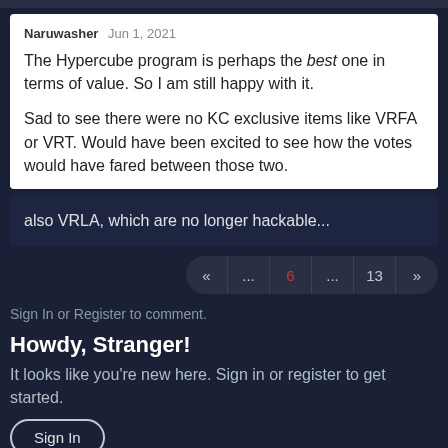Naruwasher  Jun 1, 2021
The Hypercube program is perhaps the best one in terms of value. So I am still happy with it.

Sad to see there were no KC exclusive items like VRFA or VRT. Would have been excited to see how the votes would have fared between those two.
also VRLA, which are no longer hackable...
« ... 6 ... 13 »
Sign In or Register to comment.
Howdy, Stranger!
It looks like you're new here. Sign in or register to get started.
Sign In
Register